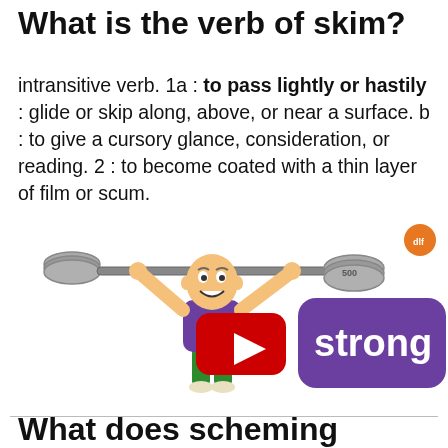What is the verb of skim?
intransitive verb. 1a : to pass lightly or hastily : glide or skip along, above, or near a surface. b : to give a cursory glance, consideration, or reading. 2 : to become coated with a thin layer of film or scum.
[Figure (illustration): Cartoon illustration of a muscular man lifting a heavy barbell overhead, wearing a purple shirt and green shorts, next to a purple 'strong' logo with a YouTube play button overlay and a small orange badge in the top right.]
What does scheming mean